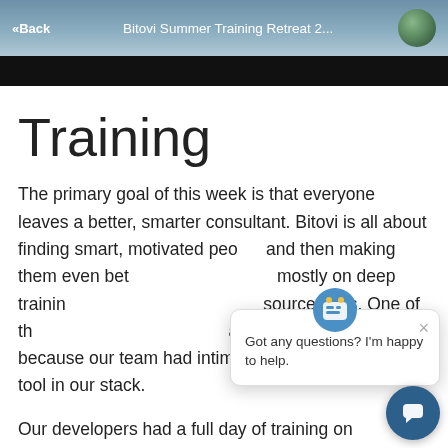«Back   Bitovi Summer Training Retreat 2...
[Figure (screenshot): Black banner bar below the navigation header]
Training
The primary goal of this week is that everyone leaves a better, smarter consultant. Bitovi is all about finding smart, motivated people and then making them even better. We've focused mostly on deep training in JavaScript and open source tools. One of the reasons we're so great at building apps is because our team had intimate knowledge of every tool in our stack.
Our developers had a full day of training on
[Figure (screenshot): Chat popup overlay with robot icon and text 'Got any questions? I'm happy to help.' with close X button, and dark blue circular chat button in bottom right corner]